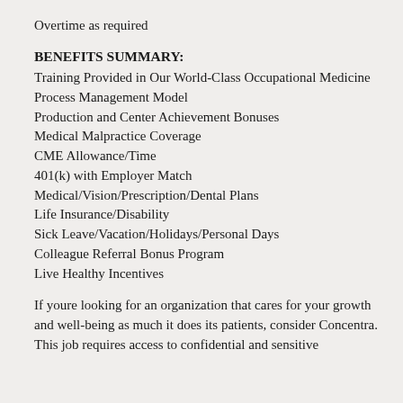Overtime as required
BENEFITS SUMMARY:
Training Provided in Our World-Class Occupational Medicine Process Management Model
Production and Center Achievement Bonuses
Medical Malpractice Coverage
CME Allowance/Time
401(k) with Employer Match
Medical/Vision/Prescription/Dental Plans
Life Insurance/Disability
Sick Leave/Vacation/Holidays/Personal Days
Colleague Referral Bonus Program
Live Healthy Incentives
If youre looking for an organization that cares for your growth and well-being as much it does its patients, consider Concentra.
This job requires access to confidential and sensitive